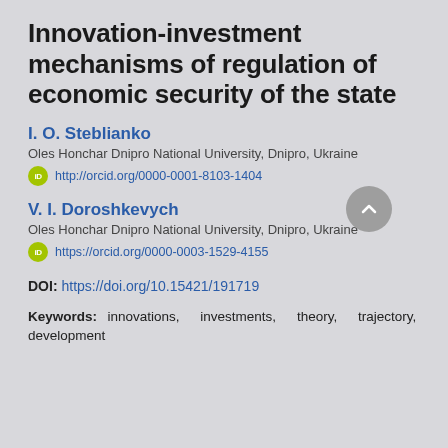Innovation-investment mechanisms of regulation of economic security of the state
I. O. Steblianko
Oles Honchar Dnipro National University, Dnipro, Ukraine
http://orcid.org/0000-0001-8103-1404
V. I. Doroshkevych
Oles Honchar Dnipro National University, Dnipro, Ukraine
https://orcid.org/0000-0003-1529-4155
DOI: https://doi.org/10.15421/191719
Keywords: innovations, investments, theory, trajectory, development